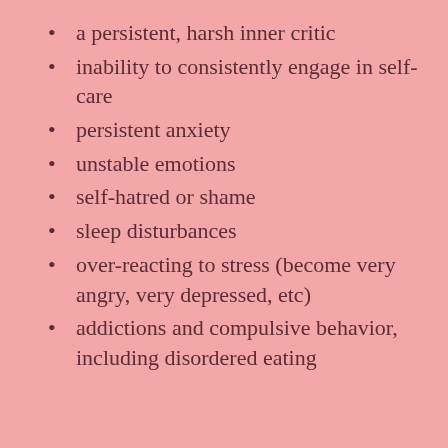a persistent, harsh inner critic
inability to consistently engage in self-care
persistent anxiety
unstable emotions
self-hatred or shame
sleep disturbances
over-reacting to stress (become very angry, very depressed, etc)
addictions and compulsive behavior, including disordered eating